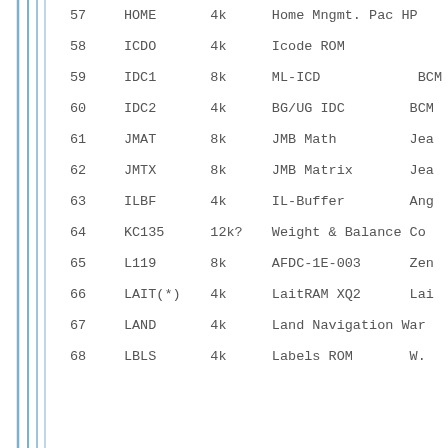| # | Code | Size | Description |
| --- | --- | --- | --- |
| 57 | HOME | 4k | Home Mngmt. Pac HP |
| 58 | ICDO | 4k | Icode ROM |
| 59 | IDC1 | 8k | ML-ICD BCM |
| 60 | IDC2 | 4k | BG/UG IDC BCM |
| 61 | JMAT | 8k | JMB Math Jea |
| 62 | JMTX | 8k | JMB Matrix Jea |
| 63 | ILBF | 4k | IL-Buffer Ang |
| 64 | KC135 | 12k? | Weight & Balance Co |
| 65 | L119 | 8k | AFDC-1E-003 Zen |
| 66 | LAIT(*) | 4k | LaitRAM XQ2 Lai |
| 67 | LAND | 4k | Land Navigation War |
| 68 | LBLS | 4k | Labels ROM W. |